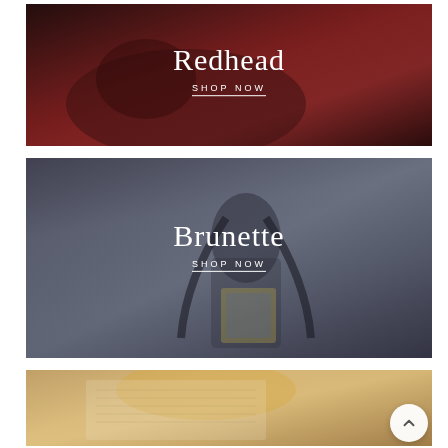[Figure (photo): Promotional banner for 'Redhead' category showing a figure in red satin clothing lying down. White text overlay reads 'Redhead' with 'SHOP NOW' beneath it.]
[Figure (photo): Promotional banner for 'Brunette' category showing a figure with long dark hair holding a colorful item. White text overlay reads 'Brunette' with 'SHOP NOW' beneath it.]
[Figure (photo): Partial promotional banner at bottom of page showing a figure with blonde/light hair, partially cropped. A circular scroll-up button is visible in the bottom right corner.]